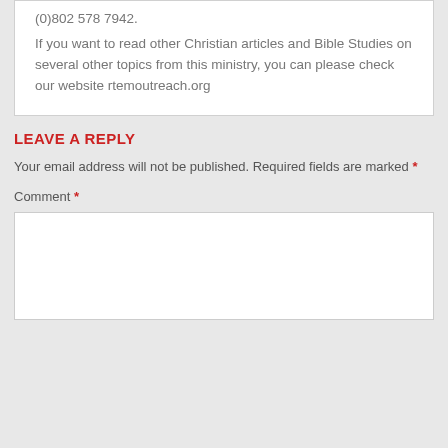(0)802 578 7942.
If you want to read other Christian articles and Bible Studies on several other topics from this ministry, you can please check our website rtemoutreach.org
LEAVE A REPLY
Your email address will not be published. Required fields are marked *
Comment *